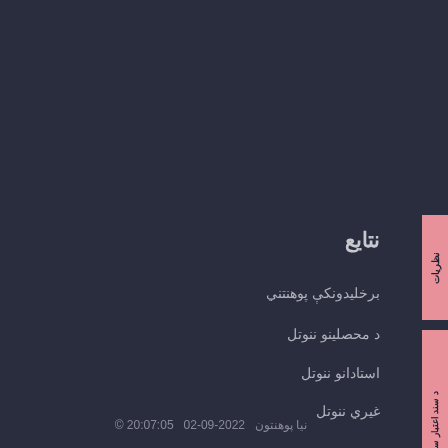نتایع
برخلیدونکې پوهنتني
د محصلینو ننوتل
استادانو ننوتل
غیري ننوتل
د سند اعتبار سنجونه
ور سره اریکې
© نیا پوهنتون  2022-09-02  20:07:05